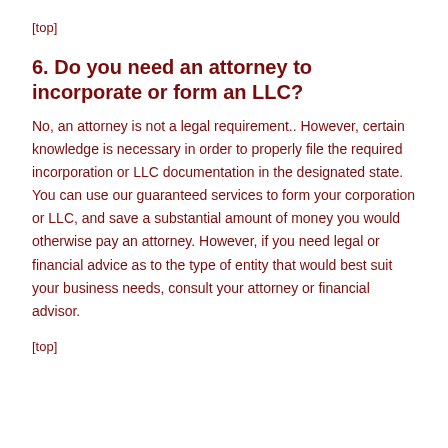[top]
6. Do you need an attorney to incorporate or form an LLC?
No, an attorney is not a legal requirement.. However, certain knowledge is necessary in order to properly file the required incorporation or LLC documentation in the designated state. You can use our guaranteed services to form your corporation or LLC, and save a substantial amount of money you would otherwise pay an attorney. However, if you need legal or financial advice as to the type of entity that would best suit your business needs, consult your attorney or financial advisor.
[top]